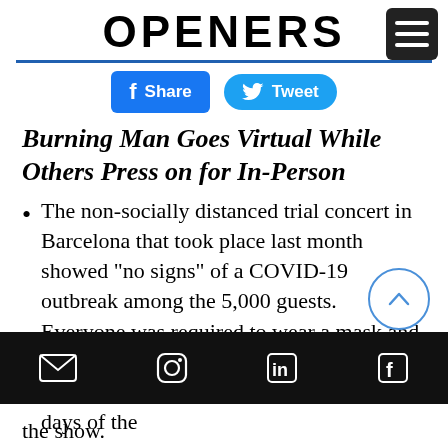OPENERS
[Figure (screenshot): Facebook Share button and Twitter Tweet button]
Burning Man Goes Virtual While Others Press on for In-Person
The non-socially distanced trial concert in Barcelona that took place last month showed “no signs” of a COVID-19 outbreak among the 5,000 guests. Everyone was required to wear a mask and present a negative test that day. Though six attendees have reported infection within 14 days of the
the show.